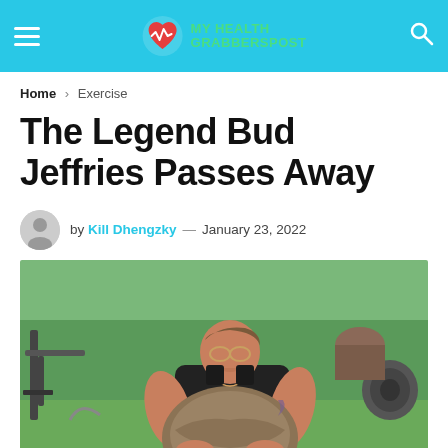MY HEALTH GRABBERSPOST
Home > Exercise
The Legend Bud Jeffries Passes Away
by Kill Dhengzky — January 23, 2022
[Figure (photo): A muscular man in a black tank top, wearing glasses, lifting a large heavy stone in an outdoor gym setting with weights and chains visible in the background.]